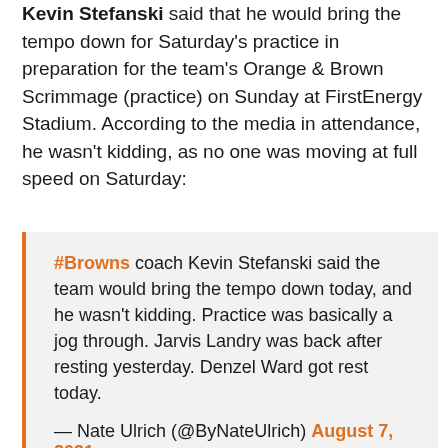Kevin Stefanski said that he would bring the tempo down for Saturday's practice in preparation for the team's Orange & Brown Scrimmage (practice) on Sunday at FirstEnergy Stadium. According to the media in attendance, he wasn't kidding, as no one was moving at full speed on Saturday:
#Browns coach Kevin Stefanski said the team would bring the tempo down today, and he wasn't kidding. Practice was basically a jog through. Jarvis Landry was back after resting yesterday. Denzel Ward got rest today.

— Nate Ulrich (@ByNateUlrich) August 7, 2021